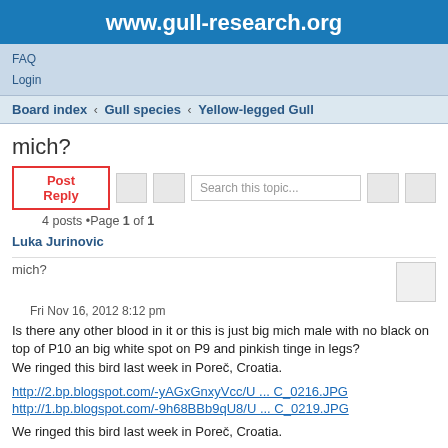www.gull-research.org
FAQ
Login
Board index ‹ Gull species ‹ Yellow-legged Gull
mich?
Post Reply
Search this topic...
4 posts •Page 1 of 1
Luka Jurinovic
mich?
Fri Nov 16, 2012 8:12 pm
Is there any other blood in it or this is just big mich male with no black on top of P10 an big white spot on P9 and pinkish tinge in legs?
We ringed this bird last week in Poreč, Croatia.
http://2.bp.blogspot.com/-yAGxGnxyVcc/U ... C_0216.JPG
http://1.bp.blogspot.com/-9h68BBb9qU8/U ... C_0219.JPG
We ringed this bird last week in Poreč, Croatia.